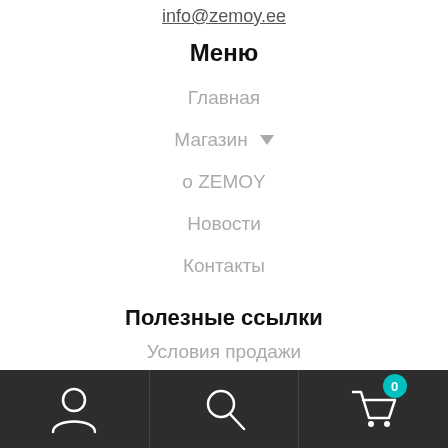info@zemoy.ee
Меню
Главная
Магазин ▾
о ZEMOY
Новости
Контакты
Полезные ссылки
Условия продажи
Мы на связи в соцсетях
Bottom navigation bar with user, search, and cart icons